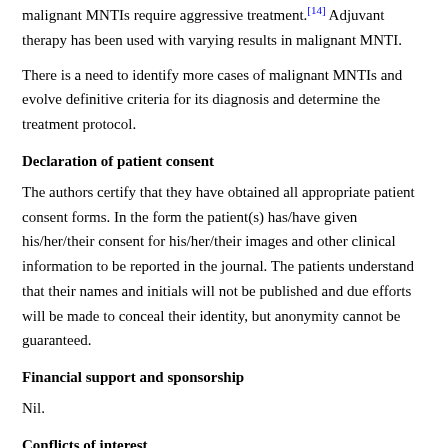malignant MNTIs require aggressive treatment.[14] Adjuvant therapy has been used with varying results in malignant MNTI.
There is a need to identify more cases of malignant MNTIs and evolve definitive criteria for its diagnosis and determine the treatment protocol.
Declaration of patient consent
The authors certify that they have obtained all appropriate patient consent forms. In the form the patient(s) has/have given his/her/their consent for his/her/their images and other clinical information to be reported in the journal. The patients understand that their names and initials will not be published and due efforts will be made to conceal their identity, but anonymity cannot be guaranteed.
Financial support and sponsorship
Nil.
Conflicts of interest
There are no conflicts of interest.